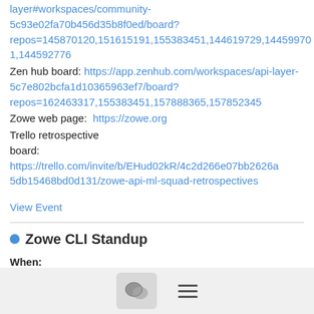layer#workspaces/community-5c93e02fa70b456d35b8f0ed/board?repos=145870120,151615191,155383451,144619729,144599701,144592776
Zen hub board: https://app.zenhub.com/workspaces/api-layer-5c7e802bcfa1d10365963ef7/board?repos=162463317,155383451,157888365,157852345
Zowe web page:  https://zowe.org
Trello retrospective board: https://trello.com/invite/b/EHud02kR/4c2d266e07bb2626a5db15468bd0d131/zowe-api-ml-squad-retrospectives
View Event
Zowe CLI Standup
When:
Wednesday, January 12, 2022, 11:00am to 11:30am
(GMT-05:00) America/New York